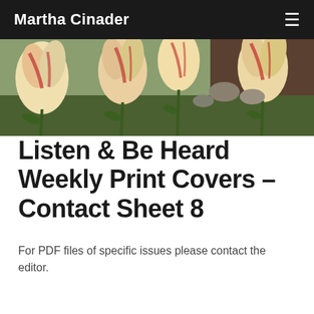Martha Cinader
[Figure (photo): Close-up photograph of tulips with cream/yellow petals and red streaks, with a garden background visible.]
Listen & Be Heard Weekly Print Covers – Contact Sheet 8
For PDF files of specific issues please contact the editor.